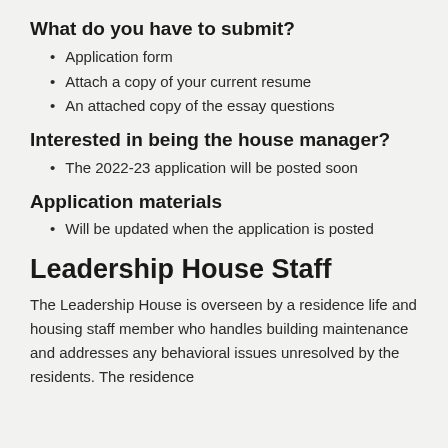What do you have to submit?
Application form
Attach a copy of your current resume
An attached copy of the essay questions
Interested in being the house manager?
The 2022-23 application will be posted soon
Application materials
Will be updated when the application is posted
Leadership House Staff
The Leadership House is overseen by a residence life and housing staff member who handles building maintenance and addresses any behavioral issues unresolved by the residents. The residence